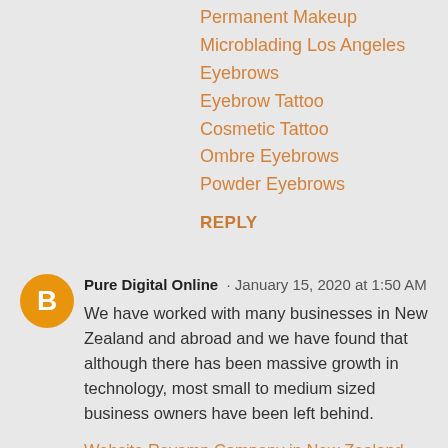Permanent Makeup
Microblading Los Angeles
Eyebrows
Eyebrow Tattoo
Cosmetic Tattoo
Ombre Eyebrows
Powder Eyebrows
REPLY
Pure Digital Online · January 15, 2020 at 1:50 AM
We have worked with many businesses in New Zealand and abroad and we have found that although there has been massive growth in technology, most small to medium sized business owners have been left behind.
Website Revamp Company in New Zealand
Logo Designing Company in New Zealand
Logo Designing Services in New Zealand
Graphic Designing Company in New Zealand